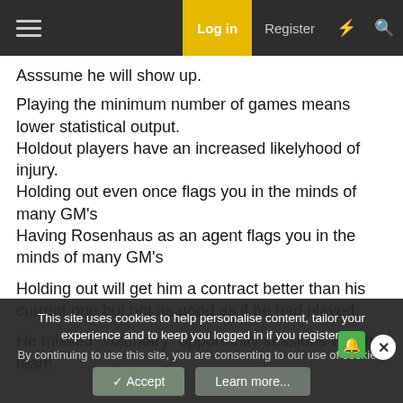Log in | Register
Asssume he will show up.
Playing the minimum number of games means lower statistical output.
Holdout players have an increased likelyhood of injury.
Holding out even once flags you in the minds of many GM's
Having Rosenhaus as an agent flags you in the minds of many GM's
Holding out will get him a contract better than his current one but not as good as if he had played.
He missed "voluntary" opportunity sessions with the team.
This site uses cookies to help personalise content, tailor your experience and to keep you logged in if you register.
By continuing to use this site, you are consenting to our use of cookies.